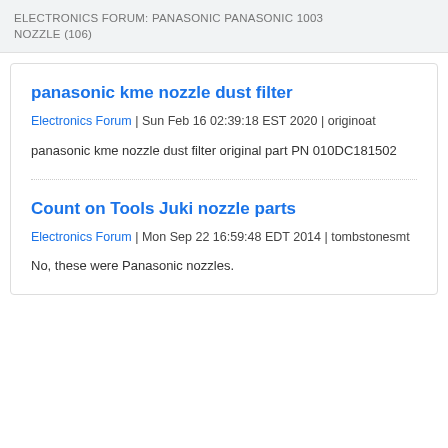ELECTRONICS FORUM: PANASONIC PANASONIC 1003 NOZZLE (106)
panasonic kme nozzle dust filter
Electronics Forum | Sun Feb 16 02:39:18 EST 2020 | originoat
panasonic kme nozzle dust filter original part PN 010DC181502
Count on Tools Juki nozzle parts
Electronics Forum | Mon Sep 22 16:59:48 EDT 2014 | tombstonesmt
No, these were Panasonic nozzles.